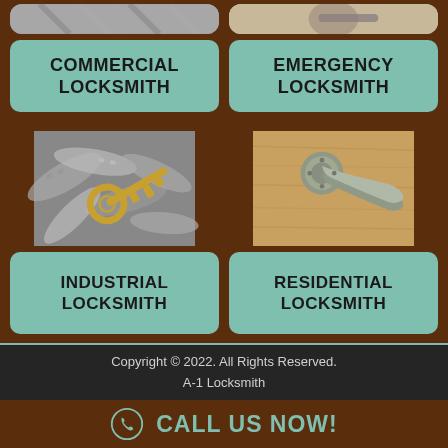[Figure (other): Keys pile photo placeholder (top left, partially visible)]
[Figure (other): Lock/door handle photo placeholder (top right, partially visible)]
COMMERCIAL LOCKSMITH
EMERGENCY LOCKSMITH
[Figure (photo): Golden key among silver keys]
[Figure (photo): Silver door handle on wooden door]
INDUSTRIAL LOCKSMITH
RESIDENTIAL LOCKSMITH
Copyright © 2022. All Rights Reserved.
A-1 Locksmith
CALL US NOW!